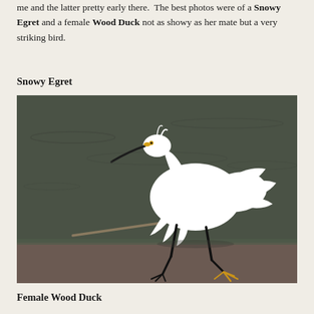me and the latter pretty early there. The best photos were of a Snowy Egret and a female Wood Duck not as showy as her mate but a very striking bird.
Snowy Egret
[Figure (photo): A Snowy Egret wading in shallow water, showing its white plumage, black beak with yellow lore, black legs, and yellow feet. The bird is mid-stride with fluffy breeding plumes visible.]
Female Wood Duck